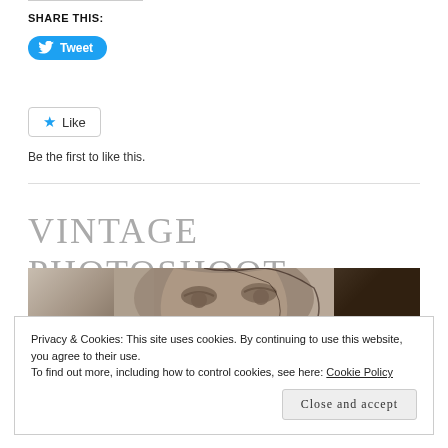SHARE THIS:
[Figure (other): Twitter Tweet button - blue rounded button with Twitter bird icon and 'Tweet' text]
[Figure (other): Like button - bordered button with blue star icon and 'Like' text]
Be the first to like this.
VINTAGE PHOTOSHOOT
[Figure (photo): Close-up photo of a woman's face from a vintage photoshoot, showing eyes and dark hair against a textured background]
Privacy & Cookies: This site uses cookies. By continuing to use this website, you agree to their use.
To find out more, including how to control cookies, see here: Cookie Policy
Close and accept